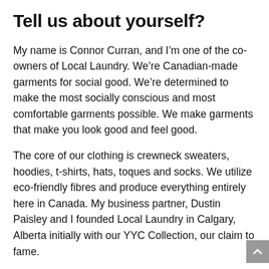Tell us about yourself?
My name is Connor Curran, and I’m one of the co-owners of Local Laundry. We’re Canadian-made garments for social good. We’re determined to make the most socially conscious and most comfortable garments possible. We make garments that make you look good and feel good.
The core of our clothing is crewneck sweaters, hoodies, t-shirts, hats, toques and socks. We utilize eco-friendly fibres and produce everything entirely here in Canada. My business partner, Dustin Paisley and I founded Local Laundry in Calgary, Alberta initially with our YYC Collection, our claim to fame.